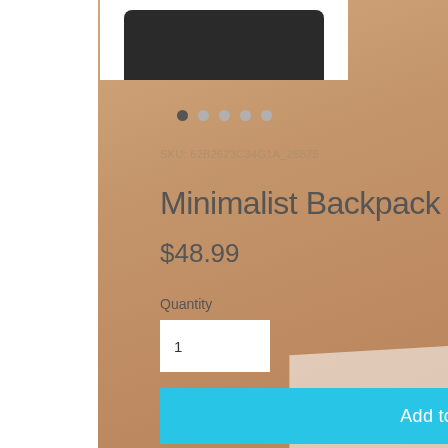[Figure (photo): Product photo of a minimalist backpack (dark/black) shown at top of page]
SKU: 62B2623C34G1A_25875
Minimalist Backpack
$48.99
Quantity
1
Add to Cart
If you feel like you're carrying half of your belongings with